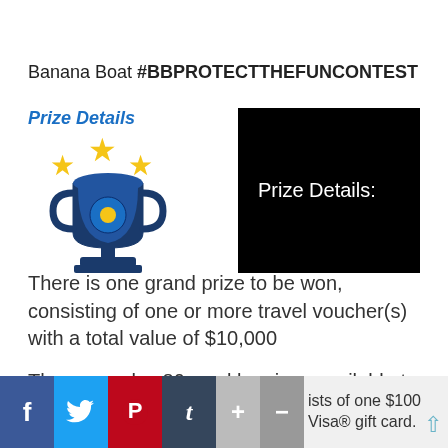Banana Boat #BBPROTECTTHEFUNCONTEST
[Figure (infographic): Prize Details heading in blue italic bold text with a trophy icon and stars, alongside a black banner reading 'Prize Details:']
There is one grand prize to be won, consisting of one or more travel voucher(s) with a total value of $10,000
There are also 80 weekly prizes available to be won
f [Facebook] [Twitter] [Pinterest] [Tumblr] [+] [-] ists of one $100 Visa® gift card.